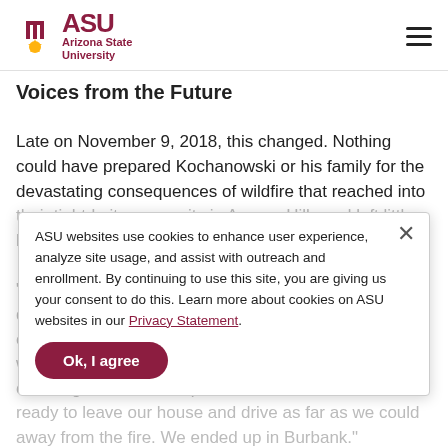ASU Arizona State University
Voices from the Future
Late on November 9, 2018, this changed. Nothing could have prepared Kochanowski or his family for the devastating consequences of wildfire that reached into their tight-knit community in Aguora Hills and left little beside ashes and destruction.

"I knew it was serious when the firetrucks started to drive through our neighborhood telling people to evacuate," Kochanowski says. "I had come home from work a bit earlier. By 11:30 p.m. my wife, our 12-year-old daughter and I had packed our car and we were ready to leave our house and drive as far as we could away from the fire. We ended up in Burbank."
ASU websites use cookies to enhance user experience, analyze site usage, and assist with outreach and enrollment. By continuing to use this site, you are giving us your consent to do this. Learn more about cookies on ASU websites in our Privacy Statement.